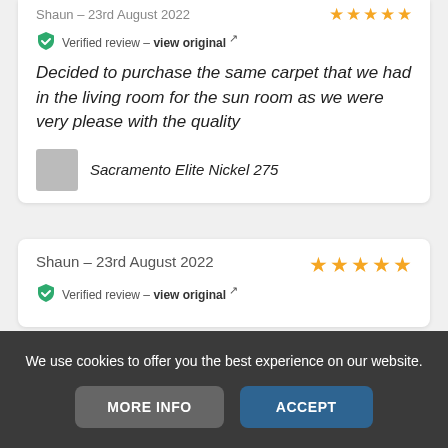Shaun – 23rd August 2022 ★★★★★
Verified review – view original
Decided to purchase the same carpet that we had in the living room for the sun room as we were very please with the quality
Sacramento Elite Nickel 275
Shaun – 23rd August 2022 ★★★★★
Verified review – view original
We use cookies to offer you the best experience on our website.
MORE INFO
ACCEPT